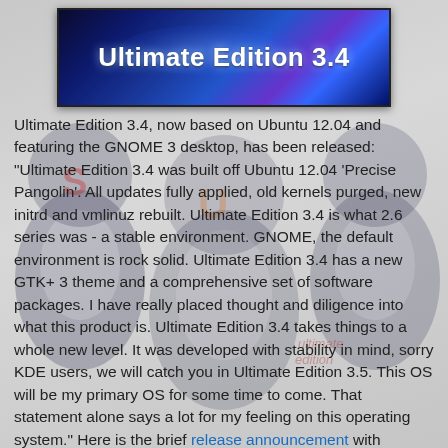[Figure (illustration): Background illustration of cartoon penguins on a light gray background]
Ultimate Edition 3.4
Ultimate Edition 3.4, now based on Ubuntu 12.04 and featuring the GNOME 3 desktop, has been released: "Ultimate Edition 3.4 was built off Ubuntu 12.04 'Precise Pangolin'. All updates fully applied, old kernels purged, new initrd and vmlinuz rebuilt. Ultimate Edition 3.4 is what 2.6 series was - a stable environment. GNOME, the default environment is rock solid. Ultimate Edition 3.4 has a new GTK+ 3 theme and a comprehensive set of software packages. I have really placed thought and diligence into what this product is. Ultimate Edition 3.4 takes things to a whole new level. It was developed with stability in mind, sorry KDE users, we will catch you in Ultimate Edition 3.5. This OS will be my primary OS for some time to come. That statement alone says a lot for my feeling on this operating system." Here is the brief release announcement with screenshots. Download (MD5): ultimate-edition-3.4-x86.iso (2,922MB), ultimate-edition-3.4-x64.iso (3,080MB).